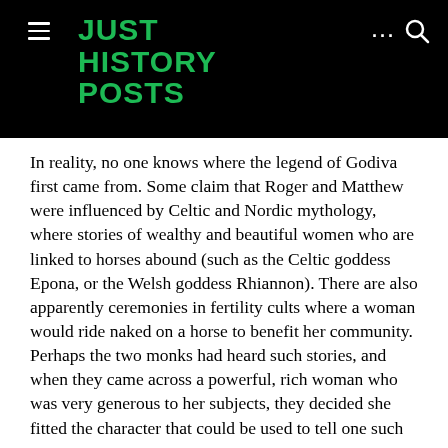JUST HISTORY POSTS
In reality, no one knows where the legend of Godiva first came from. Some claim that Roger and Matthew were influenced by Celtic and Nordic mythology, where stories of wealthy and beautiful women who are linked to horses abound (such as the Celtic goddess Epona, or the Welsh goddess Rhiannon). There are also apparently ceremonies in fertility cults where a woman would ride naked on a horse to benefit her community. Perhaps the two monks had heard such stories, and when they came across a powerful, rich woman who was very generous to her subjects, they decided she fitted the character that could be used to tell one such